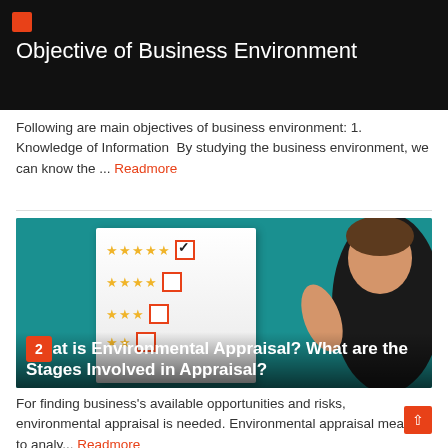Objective of Business Environment
Following are main objectives of business environment: 1. Knowledge of Information  By studying the business environment, we can know the ... Readmore
[Figure (illustration): Illustration of a person holding a checklist/rating sheet with stars and checkboxes on a teal background, with text overlay 'What is Environmental Appraisal? What are the Stages Involved in Appraisal?']
For finding business's available opportunities and risks, environmental appraisal is needed. Environmental appraisal means to analy... Readmore